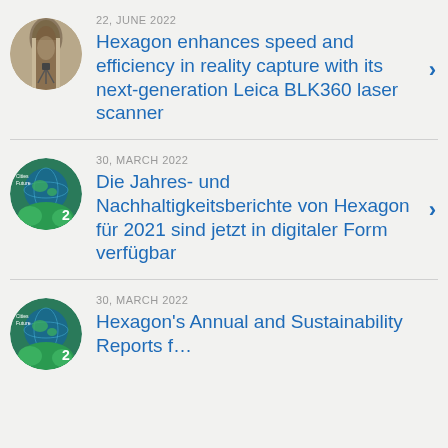[Figure (photo): Circular thumbnail showing arched stone corridor with a tripod/scanner inside]
22, JUNE 2022
Hexagon enhances speed and efficiency in reality capture with its next-generation Leica BLK360 laser scanner
[Figure (photo): Circular thumbnail showing green globe/earth with foliage, sustainability report cover]
30, MARCH 2022
Die Jahres- und Nachhaltigkeitsberichte von Hexagon für 2021 sind jetzt in digitaler Form verfügbar
[Figure (photo): Circular thumbnail showing green globe/earth with foliage, sustainability report cover]
30, MARCH 2022
Hexagon's Annual and Sustainability Reports f…